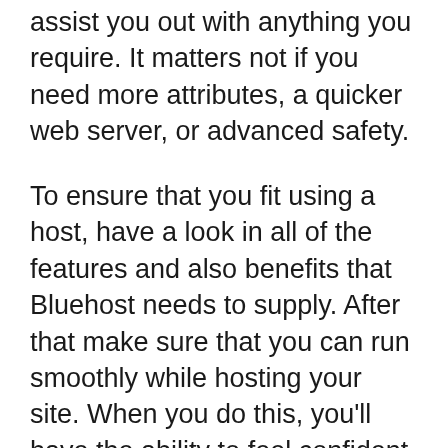assist you out with anything you require. It matters not if you need more attributes, a quicker web server, or advanced safety.
To ensure that you fit using a host, have a look in all of the features and also benefits that Bluehost needs to supply. After that make sure that you can run smoothly while hosting your site. When you do this, you'll have the ability to feel confident that your web site will certainly execute well and also be simple to run.
In conclusion, the best method to figure out if Bluehost is a good host is to utilize their on-line support and seek customer reviews. If you can't find a great deal of complaints from customers about the client assistance,